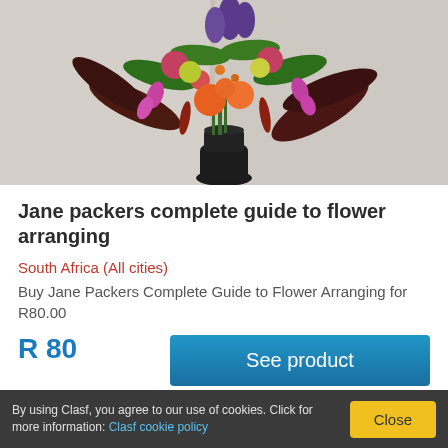[Figure (photo): A large floral arrangement in a dark vase with colorful flowers including orange roses, purple flowers, yellow fruit, and dark leaves, photographed against a light background.]
Jane packers complete guide to flower arranging
South Africa (All cities)
Buy Jane Packers Complete Guide to Flower Arranging for R80.00
R 80
See product
By using Clasf, you agree to our use of cookies. Click for more information: Clasf cookie policy